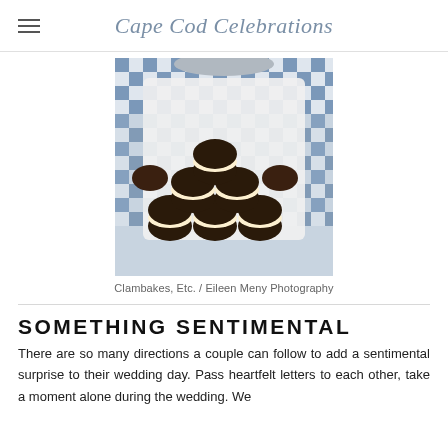Cape Cod Celebrations
[Figure (photo): A stacked pile of chocolate whoopie pies with cream filling on a white platter, placed on a blue and white checkered tablecloth.]
Clambakes, Etc. / Eileen Meny Photography
SOMETHING SENTIMENTAL
There are so many directions a couple can follow to add a sentimental surprise to their wedding day. Pass heartfelt letters to each other, take a moment alone during the wedding. We